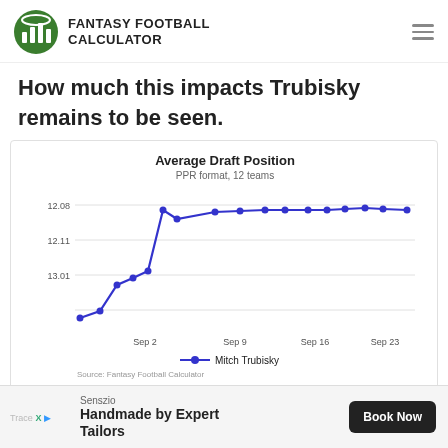FANTASY FOOTBALL CALCULATOR
How much this impacts Trubisky remains to be seen.
[Figure (line-chart): Average Draft Position]